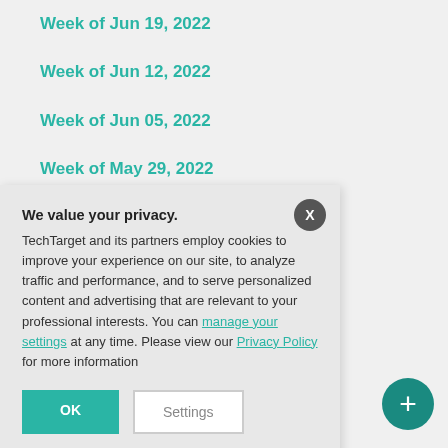Week of Jun 19, 2022
Week of Jun 12, 2022
Week of Jun 05, 2022
Week of May 29, 2022
Week of May 22, 2022
Week of May 15, 2022
We value your privacy. TechTarget and its partners employ cookies to improve your experience on our site, to analyze traffic and performance, and to serve personalized content and advertising that are relevant to your professional interests. You can manage your settings at any time. Please view our Privacy Policy for more information